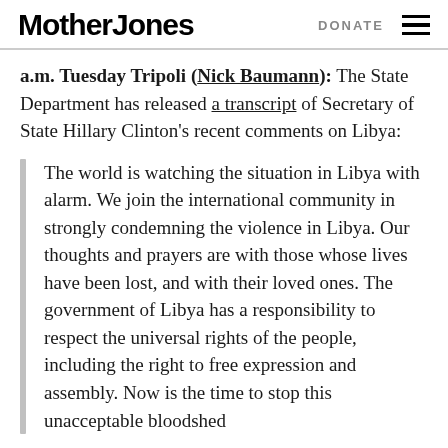Mother Jones | DONATE
a.m. Tuesday Tripoli (Nick Baumann): The State Department has released a transcript of Secretary of State Hillary Clinton's recent comments on Libya:
The world is watching the situation in Libya with alarm. We join the international community in strongly condemning the violence in Libya. Our thoughts and prayers are with those whose lives have been lost, and with their loved ones. The government of Libya has a responsibility to respect the universal rights of the people, including the right to free expression and assembly. Now is the time to stop this unacceptable bloodshed